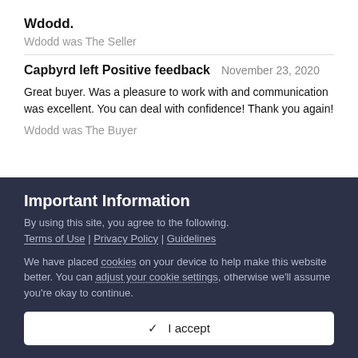Wdodd.
Wdodd was The Seller
Capbyrd left Positive feedback   November 23, 2020
Great buyer. Was a pleasure to work with and communication was excellent. You can deal with confidence! Thank you again!
Wdodd was The Buyer
Important Information
By using this site, you agree to the following. Terms of Use | Privacy Policy | Guidelines
We have placed cookies on your device to help make this website better. You can adjust your cookie settings, otherwise we'll assume you're okay to continue.
✓  I accept